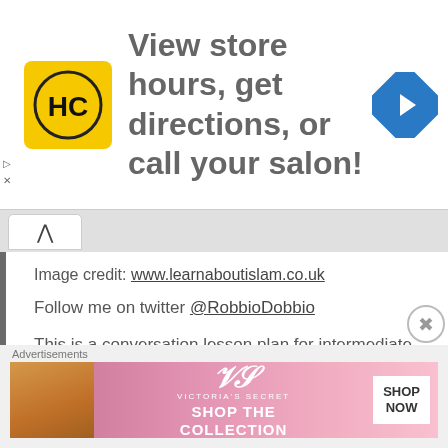[Figure (screenshot): Top advertisement banner: HC salon logo (yellow square with black HC letters), text 'View store hours, get directions, or call your salon!', blue diamond navigation arrow icon on right. Small play and X controls on left side.]
Image credit: www.learnaboutislam.co.uk
Follow me on twitter @RobbioDobbio
This is a conversation lesson plan for intermediate (B1) upwards around the topic of blame. Download the powerpoint below:
Who's in the wrong
[Figure (screenshot): Bottom advertisement banner for Victoria's Secret: pink gradient background, model photo on left, VS logo and 'SHOP THE COLLECTION' text in center, 'SHOP NOW' button on right. Labeled 'Advertisements' above.]